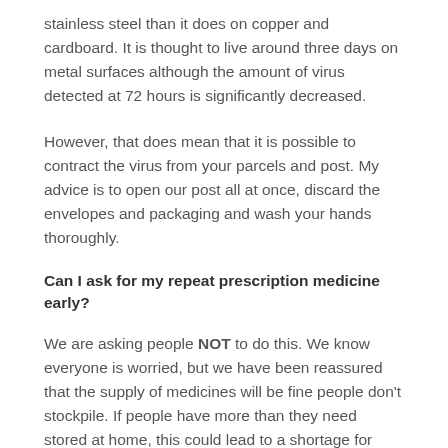stainless steel than it does on copper and cardboard. It is thought to live around three days on metal surfaces although the amount of virus detected at 72 hours is significantly decreased.
However, that does mean that it is possible to contract the virus from your parcels and post. My advice is to open our post all at once, discard the envelopes and packaging and wash your hands thoroughly.
Can I ask for my repeat prescription medicine early?
We are asking people NOT to do this. We know everyone is worried, but we have been reassured that the supply of medicines will be fine people don't stockpile. If people have more than they need stored at home, this could lead to a shortage for others when it is most needed.